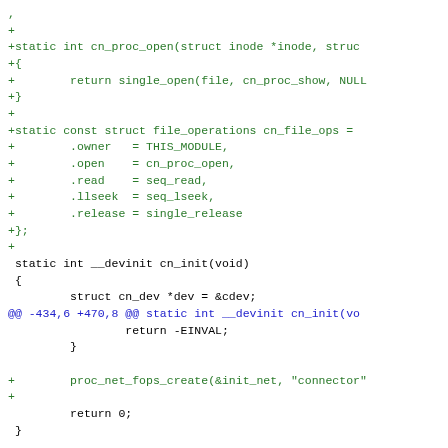[Figure (screenshot): A code diff snippet showing C source code with added lines (green, prefixed with +) and diff hunk headers (blue). The code shows cn_proc_open function, cn_file_ops struct with file operations, cn_init function body, and diff hunk markers.]